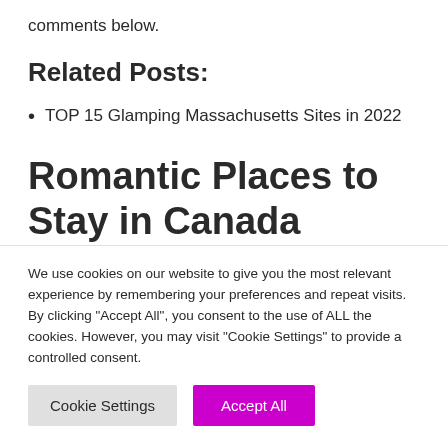comments below.
Related Posts:
TOP 15 Glamping Massachusetts Sites in 2022
Romantic Places to Stay in Canada
Merridale Cidery, British
We use cookies on our website to give you the most relevant experience by remembering your preferences and repeat visits. By clicking "Accept All", you consent to the use of ALL the cookies. However, you may visit "Cookie Settings" to provide a controlled consent.